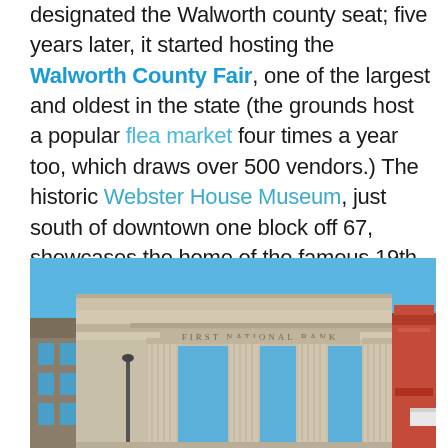designated the Walworth county seat; five years later, it started hosting the Walworth County Fair, one of the largest and oldest in the state (the grounds host a popular flea market four times a year too, which draws over 500 vendors.) The historic Webster House Museum, just south of downtown one block off 67, showcases the home of the famous 19th century composer Joseph Webster and offers a great look at life and original items from the mid-1800s.
[Figure (photo): Photograph of a neoclassical building facade labeled 'First National Bank' with large columns and a blue sky background, flanked by other storefronts.]